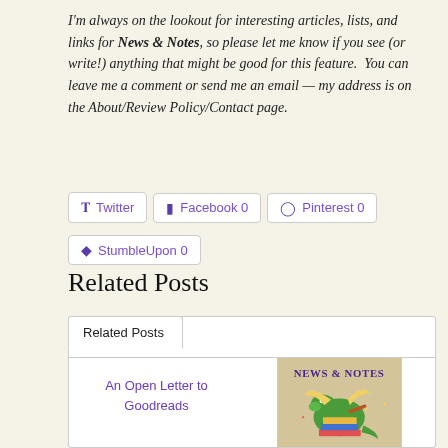I'm always on the lookout for interesting articles, lists, and links for News & Notes, so please let me know if you see (or write!) anything that might be good for this feature. You can leave me a comment or send me an email — my address is on the About/Review Policy/Contact page.
Twitter
Facebook 0
Pinterest 0
StumbleUpon 0
Related Posts
Related Posts
An Open Letter to Goodreads
[Figure (illustration): News & Notes image featuring a green dragon reading books, with colorful book stack, on a tan/beige background with purple text 'NEWS & NOTES']